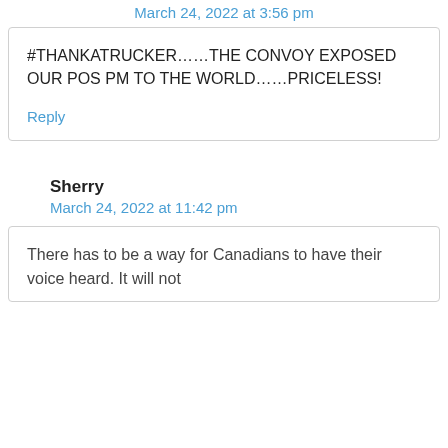March 24, 2022 at 3:56 pm
#THANKATRUCKER……THE CONVOY EXPOSED OUR POS PM TO THE WORLD……PRICELESS!
Reply
Sherry
March 24, 2022 at 11:42 pm
There has to be a way for Canadians to have their voice heard. It will not